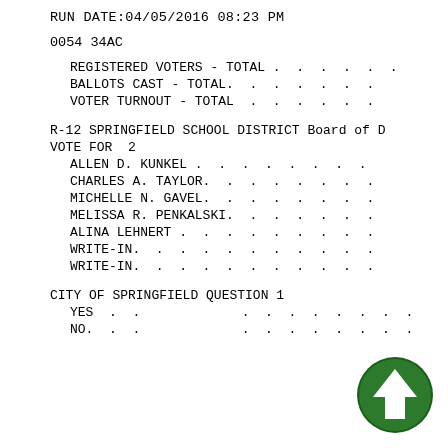RUN DATE:04/05/2016 08:23 PM
0054 34AC
REGISTERED VOTERS - TOTAL . . . . . .
BALLOTS CAST - TOTAL. . . . . . . .
VOTER TURNOUT - TOTAL . . . . . . .
R-12 SPRINGFIELD SCHOOL DISTRICT Board of D
VOTE FOR  2
ALLEN D. KUNKEL . . . . . . . . .
CHARLES A. TAYLOR. . . . . . . . .
MICHELLE N. GAVEL. . . . . . . . .
MELISSA R. PENKALSKI. . . . . . . .
ALINA LEHNERT . . . . . . . . . .
WRITE-IN. . . . . . . . . . . .
WRITE-IN. . . . . . . . . . . .
CITY OF SPRINGFIELD QUESTION 1
YES . . . . . . . . . . . .
NO. . . . . . . . . . . . .